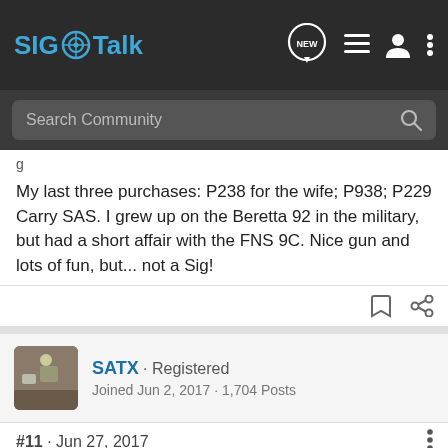SIG Talk
Search Community
g
My last three purchases: P238 for the wife; P938; P229 Carry SAS. I grew up on the Beretta 92 in the military, but had a short affair with the FNS 9C. Nice gun and lots of fun, but... not a Sig!
SATX · Registered
Joined Jun 2, 2017 · 1,704 Posts
#11 · Jun 27, 2017
Haha, y
[Figure (screenshot): Advertisement banner reading BETTER BUY MORE with image of a firearm on blue background]